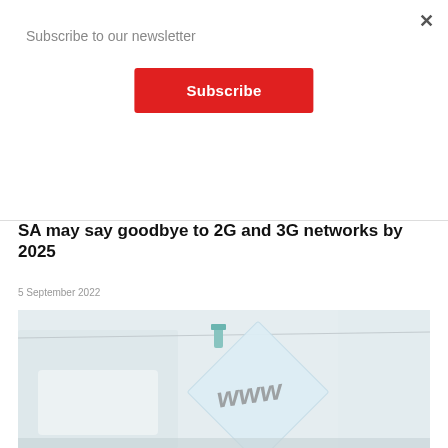Subscribe to our newsletter
Subscribe
SA may say goodbye to 2G and 3G networks by 2025
5 September 2022
[Figure (photo): A light blue paper note with 'www' written on it in handwriting, clipped to a string with a small peg, against a blurred white background.]